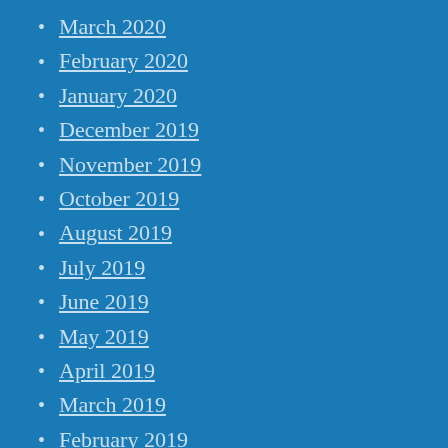March 2020
February 2020
January 2020
December 2019
November 2019
October 2019
August 2019
July 2019
June 2019
May 2019
April 2019
March 2019
February 2019
January 2019
December 2018
November 2018
October 2018